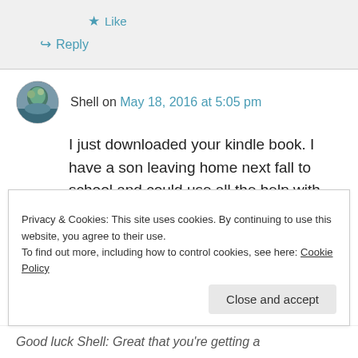★ Like
↪ Reply
Shell on May 18, 2016 at 5:05 pm
I just downloaded your kindle book. I have a son leaving home next fall to school and could use all the help with letting go.
Liked by 2 people
Privacy & Cookies: This site uses cookies. By continuing to use this website, you agree to their use.
To find out more, including how to control cookies, see here: Cookie Policy
Close and accept
Good luck Shell: Great that you're getting a